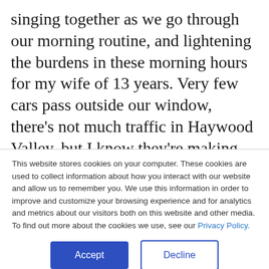singing together as we go through our morning routine, and lightening the burdens in these morning hours for my wife of 13 years. Very few cars pass outside our window, there's not much traffic in Haywood Valley, but I know they're making the drive to the nearest town to clock-in. I've already logged an hour and half of work before the rest of the county was awake or preparing for their morning commute. I've connected with Teammates around the globe and moved pieces
This website stores cookies on your computer. These cookies are used to collect information about how you interact with our website and allow us to remember you. We use this information in order to improve and customize your browsing experience and for analytics and metrics about our visitors both on this website and other media. To find out more about the cookies we use, see our Privacy Policy.